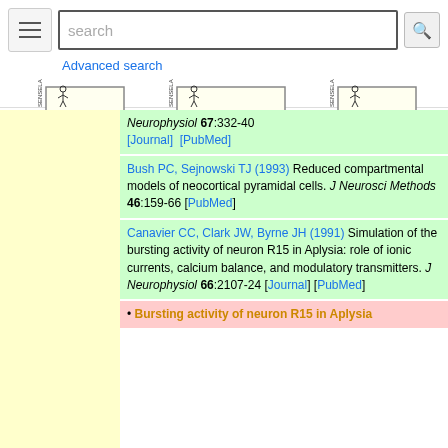search [search box] [search button] Advanced search
[Figure (logo): SenseLab logo with stick figure]
[Figure (logo): MicrocircuitDB logo with stick figure]
[Figure (logo): ModelDB logo with stick figure]
Neurophysiol 67:332-40 [Journal] [PubMed]
Bush PC, Sejnowski TJ (1993) Reduced compartmental models of neocortical pyramidal cells. J Neurosci Methods 46:159-66 [PubMed]
Canavier CC, Clark JW, Byrne JH (1991) Simulation of the bursting activity of neuron R15 in Aplysia: role of ionic currents, calcium balance, and modulatory transmitters. J Neurophysiol 66:2107-24 [Journal] [PubMed]
• Bursting activity of neuron R15 in Aplysia